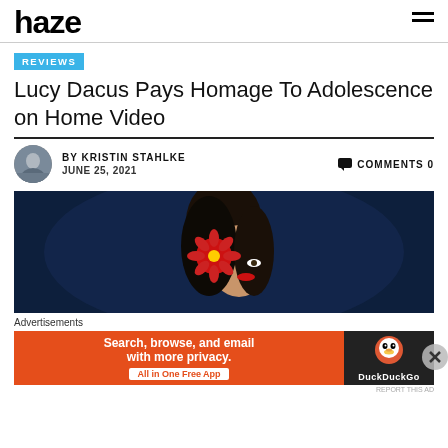haze
REVIEWS
Lucy Dacus Pays Homage To Adolescence on Home Video
BY KRISTIN STAHLKE   JUNE 25, 2021   COMMENTS 0
[Figure (photo): Woman with dark hair holding a large red gerbera daisy flower in front of one eye, against a dark blue background]
Advertisements
[Figure (screenshot): DuckDuckGo advertisement: Search, browse, and email with more privacy. All in One Free App]